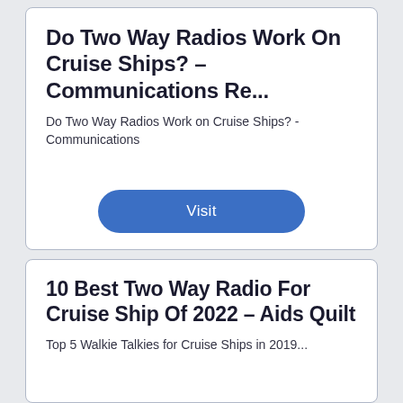Do Two Way Radios Work On Cruise Ships? – Communications Re...
Do Two Way Radios Work on Cruise Ships? - Communications
Visit
10 Best Two Way Radio For Cruise Ship Of 2022 – Aids Quilt
Top 5 Walkie Talkies for Cruise Ships in 2019...